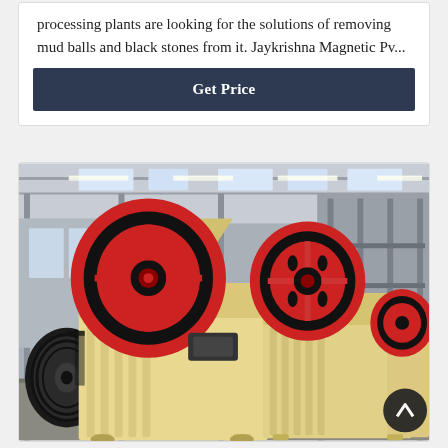processing plants are looking for the solutions of removing mud balls and black stones from it. Jaykrishna Magnetic Pv...
Get Price
[Figure (photo): Industrial jaw crusher machines with large red and black flywheels and cream/yellow painted bodies, displayed inside a large manufacturing or warehouse facility with steel structure roof and overhead lighting.]